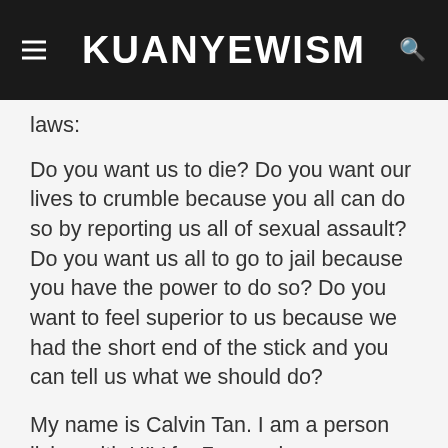KUANYEWISM
laws:
Do you want us to die? Do you want our lives to crumble because you all can do so by reporting us all of sexual assault? Do you want us all to go to jail because you have the power to do so? Do you want to feel superior to us because we had the short end of the stick and you can tell us what we should do?
My name is Calvin Tan. I am a person living with HIV for 7 years in a modernised world where HIV shouldn't be an issue anymore. So why is it still an